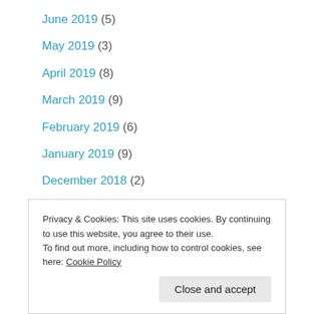June 2019 (5)
May 2019 (3)
April 2019 (8)
March 2019 (9)
February 2019 (6)
January 2019 (9)
December 2018 (2)
November 2018 (8)
October 2018 (19)
Privacy & Cookies: This site uses cookies. By continuing to use this website, you agree to their use.
To find out more, including how to control cookies, see here: Cookie Policy
Close and accept